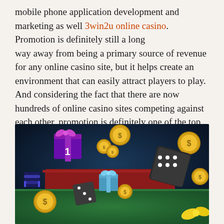mobile phone application development and marketing as well 3win2u online casino. Promotion is definitely still a long way away from being a primary source of revenue for any online casino site, but it helps create an environment that can easily attract players to play. And considering the fact that there are now hundreds of online casino sites competing against each other, promotion is definitely one of the top priorities in any online casino's marketing plan.
[Figure (photo): Casino-themed illustration showing gold coins with dollar signs, gift boxes, dice, and casino chips on a green felt table with dark background.]